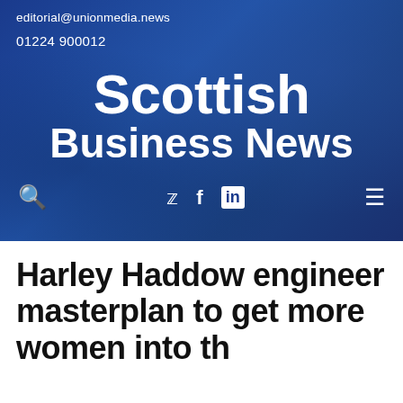editorial@unionmedia.news
01224 900012
Scottish Business News
Harley Haddow engineer masterplan to get more women into the...